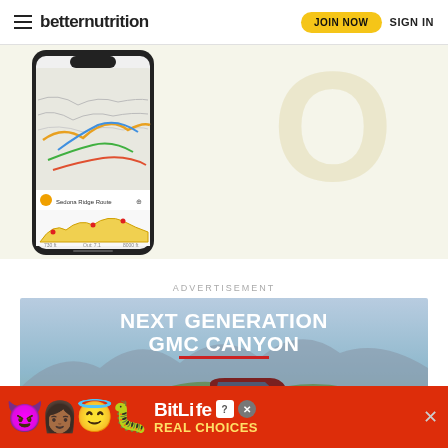betternutrition | JOIN NOW | SIGN IN
[Figure (screenshot): App screenshot showing trail map on mobile phone with topographic map and elevation profile, with large decorative letter O in background]
ADVERTISEMENT
[Figure (photo): GMC Canyon advertisement showing truck in mountain landscape with text NEXT GENERATION GMC CANYON and red underline]
[Figure (illustration): BitLife game advertisement with devil and angel emoji characters, BitLife logo with question mark and X icons, text REAL CHOICES on red background]